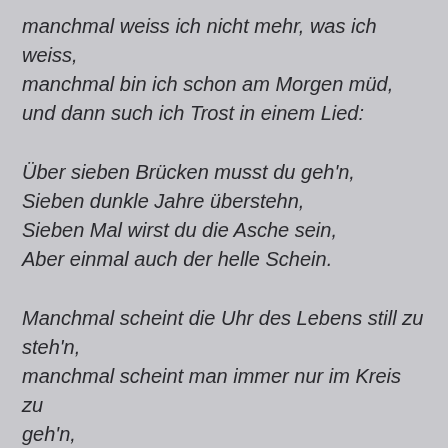manchmal weiss ich nicht mehr, was ich weiss,
manchmal bin ich schon am Morgen müd,
und dann such ich Trost in einem Lied:
Über sieben Brücken musst du geh'n,
Sieben dunkle Jahre überstehn,
Sieben Mal wirst du die Asche sein,
Aber einmal auch der helle Schein.
Manchmal scheint die Uhr des Lebens still zu steh'n,
manchmal scheint man immer nur im Kreis zu geh'n,
manchmal ist man wie vom Fernweh krank,
manchmal sitzt man still auf einer Bank,